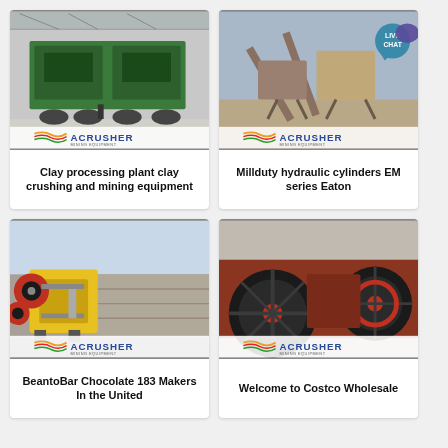[Figure (photo): Industrial clay processing / crushing plant machinery inside a large warehouse with green and grey equipment. ACRUSHER MINING EQUIPMENT logo at bottom.]
Clay processing plant clay crushing and mining equipment
[Figure (photo): Outdoor mining conveyor and screening plant with orange/brown equipment and blue sky. LIVE CHAT badge visible. ACRUSHER MINING EQUIPMENT logo at bottom.]
Millduty hydraulic cylinders EM series Eaton
[Figure (photo): Yellow and red jaw crusher machine outdoors with rock face/quarry in background. ACRUSHER MINING EQUIPMENT logo at bottom.]
BeantoBar Chocolate 183 Makers In the United
[Figure (photo): Close-up of large industrial crusher/mill with red and black flywheel/pulley wheels. ACRUSHER MINING EQUIPMENT logo at bottom.]
Welcome to Costco Wholesale